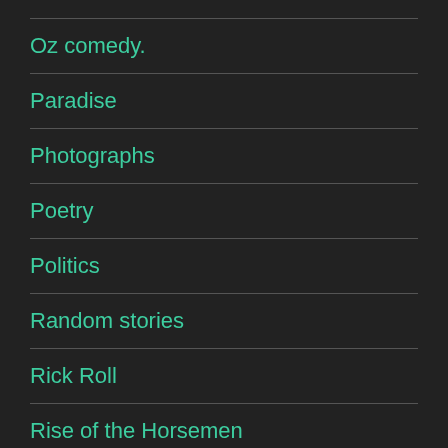Oz comedy.
Paradise
Photographs
Poetry
Politics
Random stories
Rick Roll
Rise of the Horsemen